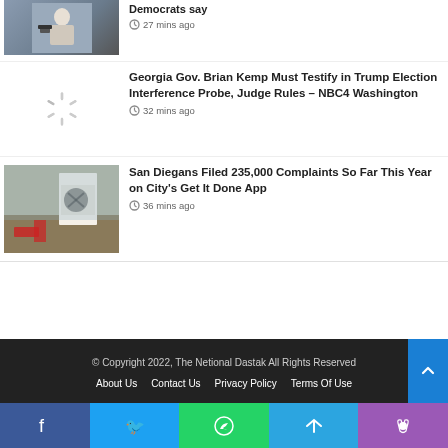[Figure (photo): Thumbnail image partially visible at top - person with camera]
Democrats say
27 mins ago
[Figure (illustration): Loading spinner icon]
Georgia Gov. Brian Kemp Must Testify in Trump Election Interference Probe, Judge Rules – NBC4 Washington
32 mins ago
[Figure (photo): Outdoor scene with sign and graffiti on canvas]
San Diegans Filed 235,000 Complaints So Far This Year on City's Get It Done App
36 mins ago
© Copyright 2022, The Netional Dastak All Rights Reserved
About Us  Contact Us  Privacy Policy  Terms Of Use